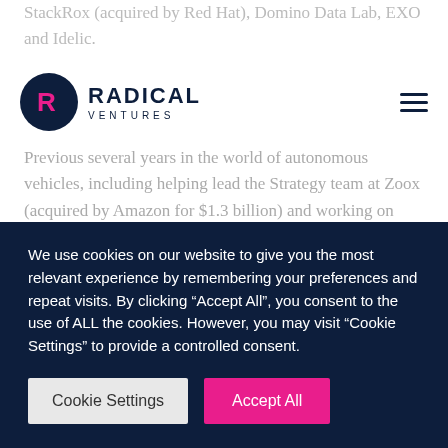StackRox (acquired by Red Hat), Domino Data Lab, EXO and Idelic.
[Figure (logo): Radical Ventures logo: dark navy circle with pink R icon, followed by RADICAL VENTURES text]
Previous several years in the world of autonomous vehicles, including helping lead the Strategy team at Zoox (acquired by Amazon for $1.3 billion) and working on autonomous vehicle policy in the White House under President Obama. He started his career in management consulting at Bain & Company.
Rob writes a regular column for Forbes about the big picture of artificial intelligence.
Rob holds an MBA from Harvard Business School, a JD from
We use cookies on our website to give you the most relevant experience by remembering your preferences and repeat visits. By clicking “Accept All”, you consent to the use of ALL the cookies. However, you may visit “Cookie Settings” to provide a controlled consent.